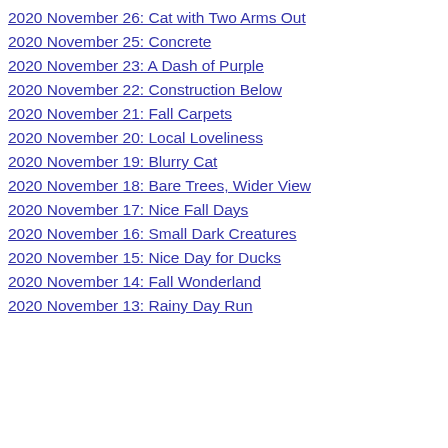2020 November 26: Cat with Two Arms Out
2020 November 25: Concrete
2020 November 23: A Dash of Purple
2020 November 22: Construction Below
2020 November 21: Fall Carpets
2020 November 20: Local Loveliness
2020 November 19: Blurry Cat
2020 November 18: Bare Trees, Wider View
2020 November 17: Nice Fall Days
2020 November 16: Small Dark Creatures
2020 November 15: Nice Day for Ducks
2020 November 14: Fall Wonderland
2020 November 13: Rainy Day Run